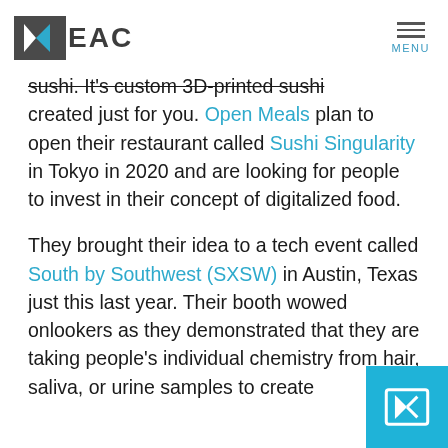EAC — MENU
sushi. It's custom 3D-printed sushi created just for you. Open Meals plan to open their restaurant called Sushi Singularity in Tokyo in 2020 and are looking for people to invest in their concept of digitalized food.

They brought their idea to a tech event called South by Southwest (SXSW) in Austin, Texas just this last year. Their booth wowed onlookers as they demonstrated that they are taking people's individual chemistry from hair, saliva, or urine samples to create